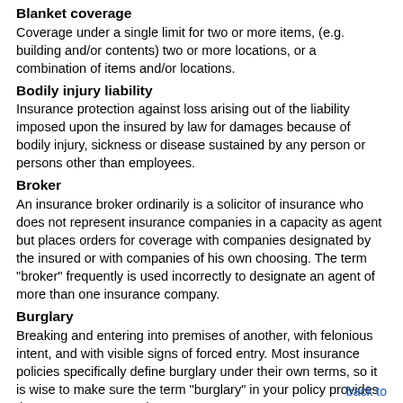Blanket coverage
Coverage under a single limit for two or more items, (e.g. building and/or contents) two or more locations, or a combination of items and/or locations.
Bodily injury liability
Insurance protection against loss arising out of the liability imposed upon the insured by law for damages because of bodily injury, sickness or disease sustained by any person or persons other than employees.
Broker
An insurance broker ordinarily is a solicitor of insurance who does not represent insurance companies in a capacity as agent but places orders for coverage with companies designated by the insured or with companies of his own choosing. The term "broker" frequently is used incorrectly to designate an agent of more than one insurance company.
Burglary
Breaking and entering into premises of another, with felonious intent, and with visible signs of forced entry. Most insurance policies specifically define burglary under their own terms, so it is wise to make sure the term "burglary" in your policy provides the coverage you need.
back to